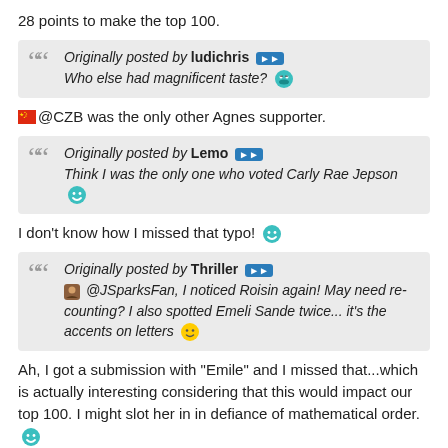28 points to make the top 100.
Originally posted by ludichris [>>] Who else had magnificent taste? [cool emoji]
[flag emoji] @CZB was the only other Agnes supporter.
Originally posted by Lemo [>>] Think I was the only one who voted Carly Rae Jepson [grin emoji]
I don't know how I missed that typo! [grin emoji]
Originally posted by Thriller [>>] [avatar] @JSparksFan, I noticed Roisin again! May need re-counting? I also spotted Emeli Sande twice... it's the accents on letters [smile emoji]
Ah, I got a submission with "Emile" and I missed that...which is actually interesting considering that this would impact our top 100. I might slot her in in defiance of mathematical order. [grin emoji]
Originally posted by Carbon [>>] So many big names already fallen! I'm def surprised about